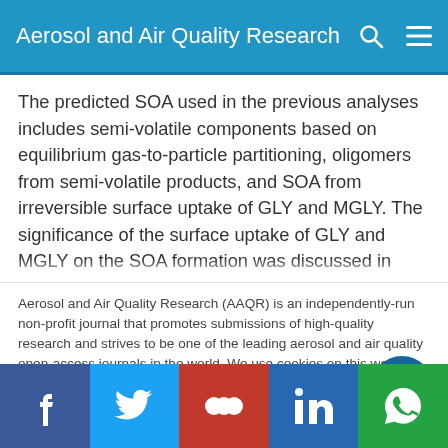Aerosol and Air Quality Research
The predicted SOA used in the previous analyses includes semi-volatile components based on equilibrium gas-to-particle partitioning, oligomers from semi-volatile products, and SOA from irreversible surface uptake of GLY and MGLY. The significance of the surface uptake of GLY and MGLY on the SOA formation was discussed in previous studies (Fu et al., 2008; Ying et al., 2014; Qiu et al., 2020). As the relative humidity was quite high in
Aerosol and Air Quality Research (AAQR) is an independently-run non-profit journal that promotes submissions of high-quality research and strives to be one of the leading aerosol and air quality open-access journals in the world. We use cookies on this website to personalize content to improve your user experience and analyze our traffic. By using this site you agree to its use of cookies.
Ok